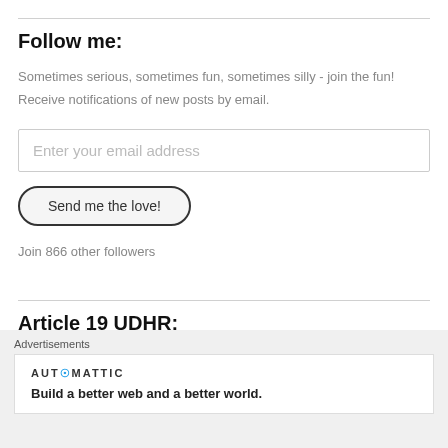Follow me:
Sometimes serious, sometimes fun, sometimes silly - join the fun!
Receive notifications of new posts by email.
Enter your email address
Send me the love!
Join 866 other followers
Article 19 UDHR:
Everyone has the right to freedom of opinion and expression; this right...
Advertisements
AUTOMATTIC
Build a better web and a better world.